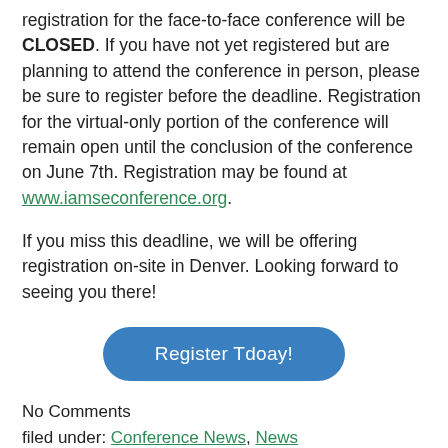registration for the face-to-face conference will be CLOSED. If you have not yet registered but are planning to attend the conference in person, please be sure to register before the deadline. Registration for the virtual-only portion of the conference will remain open until the conclusion of the conference on June 7th. Registration may be found at www.iamseconference.org.
If you miss this deadline, we will be offering registration on-site in Denver. Looking forward to seeing you there!
[Figure (other): A blue rounded button labeled 'Register Tdoay!']
No Comments
filed under: Conference News, News